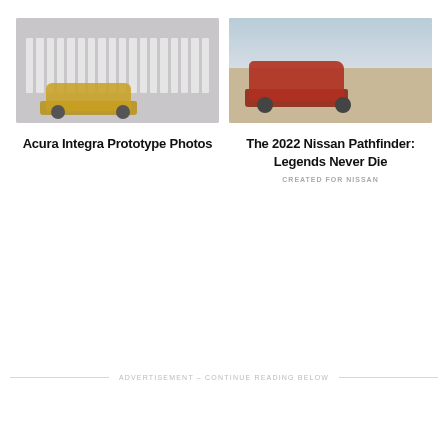[Figure (photo): Photo of Acura Integra Prototype car against striped background]
Acura Integra Prototype Photos
[Figure (photo): Photo of red 2022 Nissan Pathfinder SUV driving in desert terrain]
The 2022 Nissan Pathfinder: Legends Never Die
CREATED FOR NISSAN
ADVERTISEMENT – CONTINUE READING BELOW